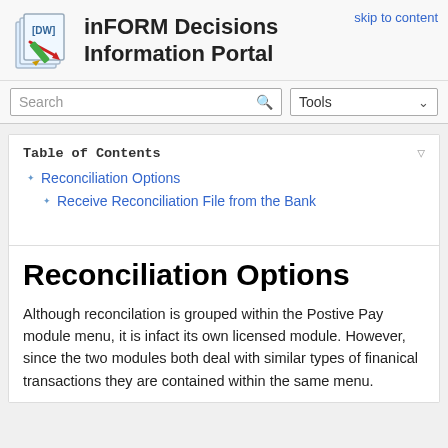inFORM Decisions Information Portal
skip to content
Reconciliation Options
Receive Reconciliation File from the Bank
Reconciliation Options
Although reconcilation is grouped within the Postive Pay module menu, it is infact its own licensed module. However, since the two modules both deal with similar types of finanical transactions they are contained within the same menu.